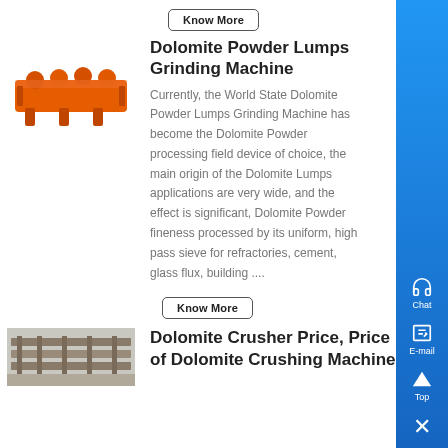[Figure (screenshot): A 'Know More' button with border at top of page]
[Figure (photo): Orange industrial grinding machine]
Dolomite Powder Lumps Grinding Machine
Currently, the World State Dolomite Powder Lumps Grinding Machine has become the Dolomite Powder processing field device of choice, the main origin of the Dolomite Lumps applications are very wide, and the effect is significant, Dolomite Powder fineness processed by its uniform, high pass sieve for refractories, cement, glass flux, building ....
[Figure (screenshot): A 'Know More' button with border]
[Figure (photo): Industrial crusher/conveyor machinery in warehouse]
Dolomite Crusher Price, Price of Dolomite Crushing Machine